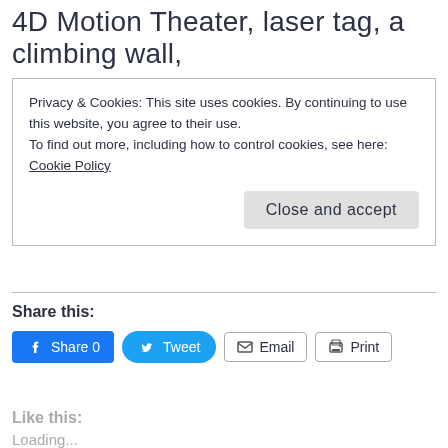4D Motion Theater, laser tag, a climbing wall,
Privacy & Cookies: This site uses cookies. By continuing to use this website, you agree to their use.
To find out more, including how to control cookies, see here:
Cookie Policy
Close and accept
Share this:
Share 0   Tweet   Email   Print
Like this:
Loading...